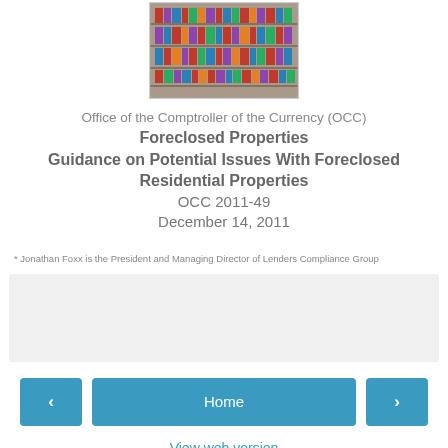[Figure (photo): Photo of filing shelves with folders/binders, likely a law library or records room]
Office of the Comptroller of the Currency (OCC)
Foreclosed Properties
Guidance on Potential Issues With Foreclosed Residential Properties
OCC 2011-49
December 14, 2011
* Jonathan Foxx is the President and Managing Director of Lenders Compliance Group
[Figure (other): Gray placeholder/content bar]
Home
View web version
Powered by Blogger.